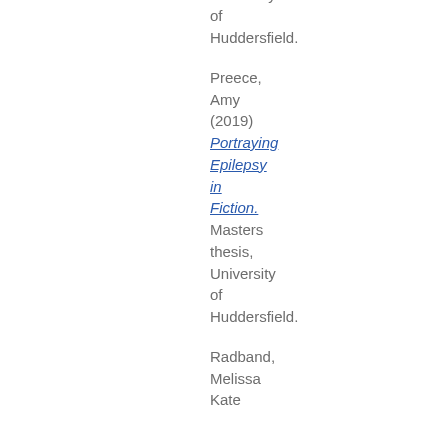Doctoral thesis, University of Huddersfield.
Preece, Amy (2019) Portraying Epilepsy in Fiction. Masters thesis, University of Huddersfield.
Radband, Melissa Kate